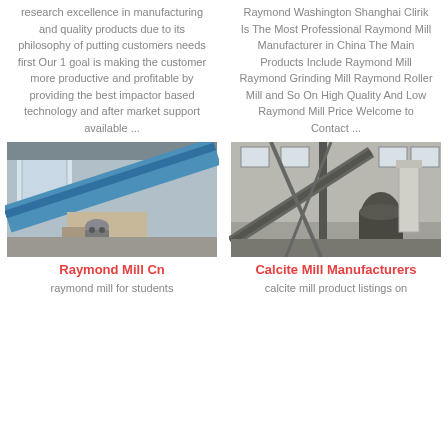research excellence in manufacturing and quality products due to its philosophy of putting customers needs first Our 1 goal is making the customer more productive and profitable by providing the best impactor based technology and after market support available ...
Raymond Washington Shanghai Clirik Is The Most Professional Raymond Mill Manufacturer in China The Main Products Include Raymond Mill Raymond Grinding Mill Raymond Roller Mill and So On High Quality And Low Raymond Mill Price Welcome to Contact ...
[Figure (photo): Industrial machinery with blue belt conveyor and metal components inside a workshop]
[Figure (photo): Large industrial grinding mill equipment inside a factory building with high ceilings and windows]
Raymond Mill Cn
Calcite Mill Manufacturers
raymond mill for students
calcite mill product listings on